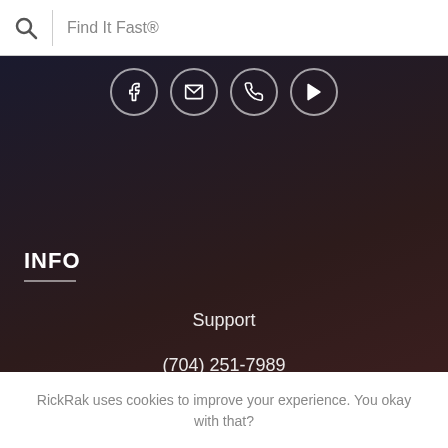Find It Fast®
[Figure (screenshot): Social media icons row: Facebook, Email/envelope, Phone, YouTube/play button — each in a circular outlined button on a dark background]
INFO
Support
(704) 251-7989
4001 Windy Rd #1
Concord NC 28027
info@rickrak.com
Harley Designations
RickRak uses cookies to improve your experience. You okay with that?